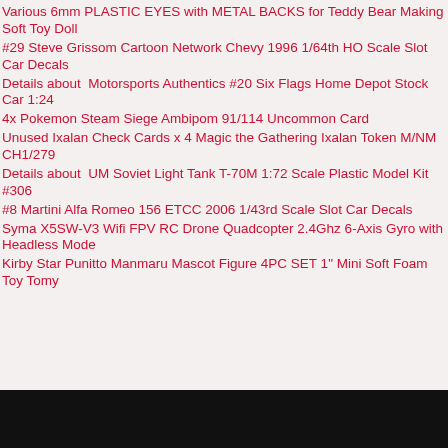Various 6mm PLASTIC EYES with METAL BACKS for Teddy Bear Making Soft Toy Doll
#29 Steve Grissom Cartoon Network Chevy 1996 1/64th HO Scale Slot Car Decals
Details about  Motorsports Authentics #20 Six Flags Home Depot Stock Car 1:24
4x Pokemon Steam Siege Ambipom 91/114 Uncommon Card
Unused Ixalan Check Cards x 4 Magic the Gathering Ixalan Token M/NM CH1/279
Details about  UM Soviet Light Tank T-70M 1:72 Scale Plastic Model Kit #306
#8 Martini Alfa Romeo 156 ETCC 2006 1/43rd Scale Slot Car Decals
Syma X5SW-V3 Wifi FPV RC Drone Quadcopter 2.4Ghz 6-Axis Gyro with Headless Mode
Kirby Star Punitto Manmaru Mascot Figure 4PC SET 1" Mini Soft Foam Toy Tomy